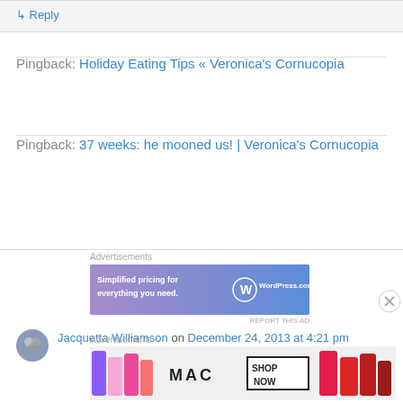↳ Reply
Pingback: Holiday Eating Tips « Veronica's Cornucopia
Pingback: 37 weeks: he mooned us! | Veronica's Cornucopia
Advertisements
[Figure (screenshot): WordPress.com ad banner: 'Simplified pricing for everything you need. WordPress.com']
REPORT THIS AD
Jacquetta Williamson on December 24, 2013 at 4:21 pm
Advertisements
[Figure (screenshot): MAC Cosmetics ad banner showing lipsticks with 'SHOP NOW' button]